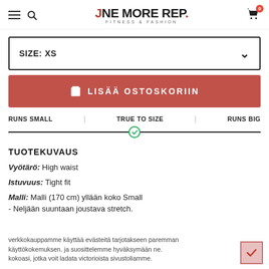ONE MORE REP. FITNESS & FASHION
SIZE: XS
LISÄÄ OSTOSKORIIN
RUNS SMALL | TRUE TO SIZE | RUNS BIG
TUOTEKUVAUS
Vyötärö: High waist
Istuvuus: Tight fit
Malli: Malli (170 cm) yllään koko Small - Neljään suuntaan joustava stretch.
verkkokauppamme käyttää evästeitä tarjotakseen paremman käyttökokemuksen. ja suosittelemme hyväksymään ne. Koska asut jotka voit ladata victorioista sivustoliamme.